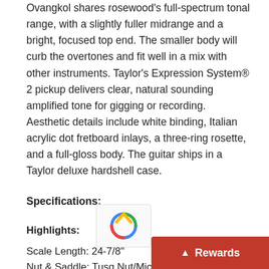Ovangkol shares rosewood's full-spectrum tonal range, with a slightly fuller midrange and a bright, focused top end. The smaller body will curb the overtones and fit well in a mix with other instruments. Taylor's Expression System® 2 pickup delivers clear, natural sounding amplified tone for gigging or recording. Aesthetic details include white binding, Italian acrylic dot fretboard inlays, a three-ring rosette, and a full-gloss body. The guitar ships in a Taylor deluxe hardshell case.
Specifications:
Highlights:
Scale Length: 24-7/8"
Nut & Saddle: Tusq Nut/Micarta Saddle
Bracing: Performance with Relief Rout
Truss Rod Cover: Black Plastic
Pickguard: Tortoise